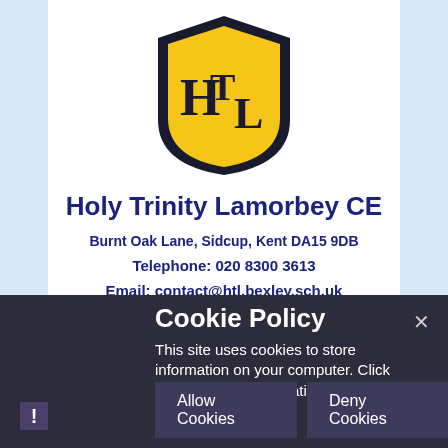[Figure (logo): Holy Trinity Lamorbey CE school crest/shield logo — dark navy shield shape with gold/yellow background, featuring stylized letters HTL in dark navy.]
Holy Trinity Lamorbey CE
Burnt Oak Lane, Sidcup, Kent DA15 9DB
Telephone: 020 8300 3613
Email: contact@htl.bexley.sch.uk
Cookie Policy
This site uses cookies to store information on your computer. Click here for more information
Principal: Mr Oliver Winstone
Allow Cookies
Deny Cookies